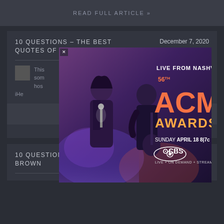READ FULL ARTICLE »
10 QUESTIONS – THE BEST QUOTES OF 2020
December 7, 2020
This ... some ... co-hos... iHea... )....
[Figure (photo): ACM Awards advertisement overlay: Live from Nashville 56th ACM Awards, Sunday April 18 8|7c on CBS. LIVE + ON DEMAND + STREAMING. Features two performers on stage.]
READ FULL ARTICLE »
10 QUESTIONS WITH ... AMY BROWN
November 30, 2020